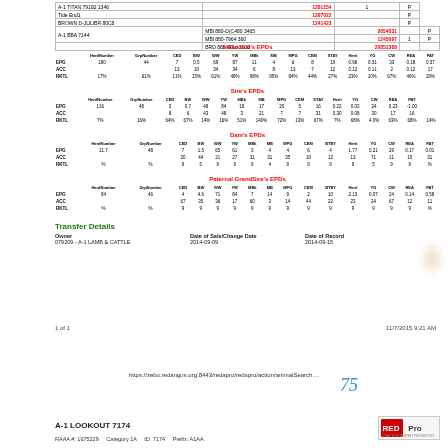| Animal |  | Value |  | P |
| --- | --- | --- | --- | --- |
| A-1 TITAN 79182 1346 |  |  | 1 | P |
| Tide End1 |  |  |  | P |
| BROWN D-JULIBR 80C8 |  |  |  | P |
| A-1 BBA 7144 | MBl 880-D(C480 3465 |  |  | P |
|  | MBl 880-7964 360 |  | 1 | P |
|  | BRD 885 RGu 1006 |  |  |  |
Individual's EPDs
|  | HerdNumber | GrpNumber | CED | BW | WW | YW | MBk | MB | MPG | CEM | STAY | Herit | YG | CW | REA | PAT |
| --- | --- | --- | --- | --- | --- | --- | --- | --- | --- | --- | --- | --- | --- | --- | --- | --- |
| EPG | 180 | 44 | 7 | 0.5 | 69 | 87 | 11 | 4 | 6 | 8 | 10 | 0.96 | 0.31 | 33 | 0.18 | 0.37 |
| ACC |  |  | 13 | 10 | 34 | 34 | 6 | 8 | 13 | 7 | 12 | 0.12 | 0.11 | 2 | 0.12 | 17 |
| RKTL | 17% | 61% | 11% | 15% | 61% | 48% | 98% | 95% | 84% | 44% | 27% | 23% | 10% | 67% | 46% | 18% |
Sire's EPDs
|  | HerdNumber | GrpNumber | CED | BW | WW | YW | MBk | MB | MPG | CEM | STAY | Herit | YG | CW | REA | PAT |
| --- | --- | --- | --- | --- | --- | --- | --- | --- | --- | --- | --- | --- | --- | --- | --- | --- |
| EPG | 116 | 48 | 3 | 0.7 | 48 | 84 | 18 | 17 | 20 | 5 | 16 | 0.22 | 0.02 | 24 | 0.23 | -1.00 |
| ACC |  |  | 8 | 6 | 43 | 48 | 3 | 21 | 7 | 7 | 31 | 0.30 | 0.08 | 30 | 17 | 16 |
| RKTL | 7% | 16% | 64% | 67% | 14% | 16% | 51% | 140% | 72% | 13% | 67% | 7% | 68% | 4.0% | 63% | 68% | 14% |
Dam's EPDs
|  | HerdNumber | GrpNumber | CED | BW | WW | YW | MBk | MB | MPG | CEM | BTBY | Herit | YG | CW | REA | PAT |
| --- | --- | --- | --- | --- | --- | --- | --- | --- | --- | --- | --- | --- | --- | --- | --- | --- |
| EPG | 11.7 | 48 | 7 | 1.5 | 65 | 61 | 3 | 4 | 4 | 6 | 4 | 1.77 | 0.21 | 29 | 0.17 | 0.01 |
| ACC |  |  | 20 | 44 | 21 | 27 | 31 | 31 | 35 | 10 | 12 | 13 | 71 | 11 | 10 | 31 |
| RKTL | % | % | 9 | 5 | 9 | 9 | 9 | 4 | 9 | 9 | 9 | 9 | 5 | 9 | 9 | % |
Paternal GrandSire's EPDs
|  | HerdNumber | GrpNumber | CED | BW | WW | YW | MBk | MB | MPG | CEM | BTBY | Herit | YG | CW | REA | PAT |
| --- | --- | --- | --- | --- | --- | --- | --- | --- | --- | --- | --- | --- | --- | --- | --- | --- |
| EPG | 84 | 46 | 4 | 4.6 | 71 | 84 | 7 | 14 | 9 | 2 | 10 | 2.13 | 0.07 | 24 | 0.14 | 0.58 |
| ACC |  |  | 67 | 35 | 36 | 17 | 60 | 3 | 14 | 44 | 22 | 23 | 24 | 67 | 12 | 11 |
| RKTL | % | % | 9 | 9 | 9 | 9 | 9 | 9 | 9 | 9 | 9 | 9 | 9 | 9 | 9 | % |
Transfer Details
Owner
079209 - A-1 LAMB & CATTLE
Date of Sale/Change Date
2014-09-09
Date of Record
2014-09-15
1 of 1
11/7/2015 9:21 AM
https://zebu.redangus.org:8443/redapro/redspro/action/animalSearch....
75
A-1 LOOKOUT 7174
RAAA #: 1675229     Category 1A     ID: 7174    Prefix: A1AA